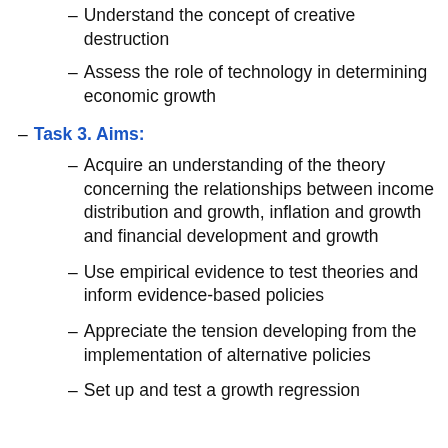– Understand the concept of creative destruction
– Assess the role of technology in determining economic growth
– Task 3. Aims:
– Acquire an understanding of the theory concerning the relationships between income distribution and growth, inflation and growth and financial development and growth
– Use empirical evidence to test theories and inform evidence-based policies
– Appreciate the tension developing from the implementation of alternative policies
– Set up and test a growth regression